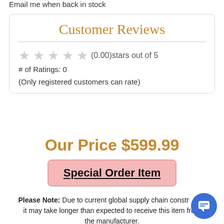Email me when back in stock
Customer Reviews
(0.00)stars out of 5
# of Ratings: 0
(Only registered customers can rate)
Our Price $599.99
Special Order Item
Please Note: Due to current global supply chain constraints, it may take longer than expected to receive this item from the manufacturer.